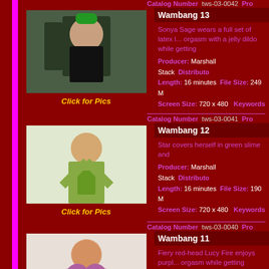Catalog Number tws-03-0042 Pro...
[Figure (photo): Woman in latex outfit pouring green liquid]
Click for Pics
Wambang 13
Sonya Sage wears a full set of latex l... orgasm with a jelly dildo while getting...
Producer: Marshall Stack  Distributo... Length: 16 minutes  File Size: 249 M... Screen Size: 720 x 480  Keywords...
Catalog Number tws-03-0041 Pro...
[Figure (photo): Woman covered in green slime]
Click for Pics
Wambang 12
Star covers herself in green slime and...
Producer: Marshall Stack  Distributo... Length: 16 minutes  File Size: 190 M... Screen Size: 720 x 480  Keywords...
Catalog Number tws-03-0040 Pro...
[Figure (photo): Red-head woman with purple goo]
Click for Pics
Wambang 11
Fiery red-head Lucy Fire enjoys purpl... orgasm while getting gallons of goo a...
Producer: Marshall Stack  Distributo... Length: 20 minutes  File Size: 235 M... Screen Size: 720 x 480  Keywords...